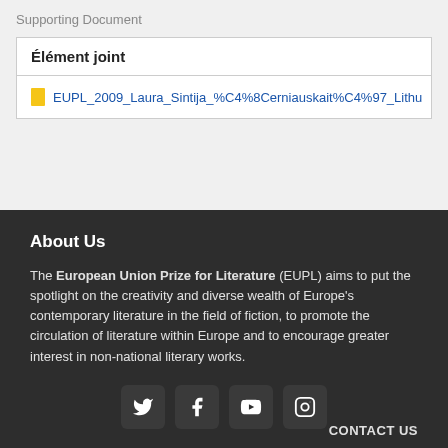Supporting Document
| Élément joint |
| --- |
| EUPL_2009_Laura_Sintija_%C4%8Cerniauskait%C4%97_Lithu |
About Us
The European Union Prize for Literature (EUPL) aims to put the spotlight on the creativity and diverse wealth of Europe's contemporary literature in the field of fiction, to promote the circulation of literature within Europe and to encourage greater interest in non-national literary works.
[Figure (other): Social media icons: Twitter, Facebook, YouTube, Instagram]
CONTACT US